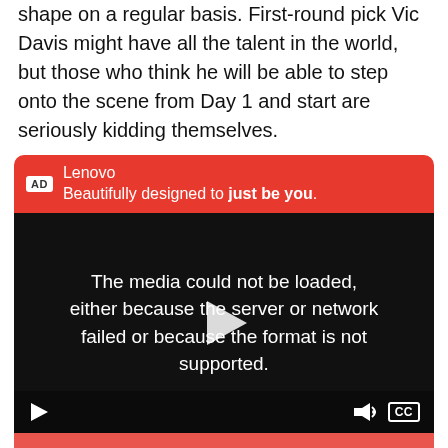shape on a regular basis. First-round pick Vic Davis might have all the talent in the world, but those who think he will be able to step onto the scene from Day 1 and start are seriously kidding themselves.
[Figure (screenshot): Lenovo advertisement video player showing 'The media could not be loaded, either because the server or network failed or because the format is not supported.' with video controls (play button, volume, CC) and a red banner ad header. Below is a pink/red section showing the top of a person's curly hair.]